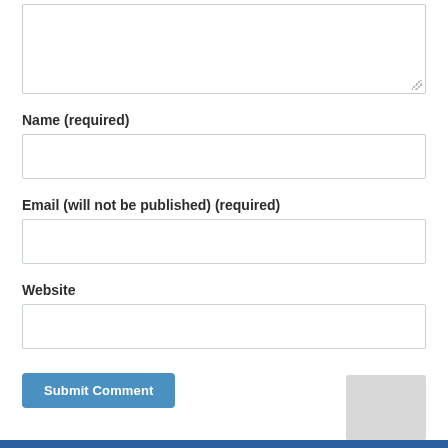[textarea top portion visible]
Name (required)
[name input field]
Email (will not be published) (required)
[email input field]
Website
[website input field]
Submit Comment